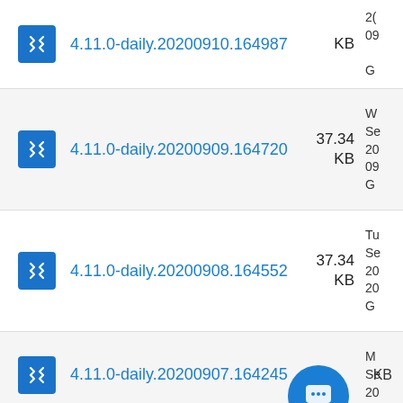4.11.0-daily.20200910.164987 — KB — G
4.11.0-daily.20200909.164720 — 37.34 KB — W Se 20 09 G
4.11.0-daily.20200908.164552 — 37.34 KB — Tu Se 20 20 G
4.11.0-daily.20200907.164245 — KB — M Se 20